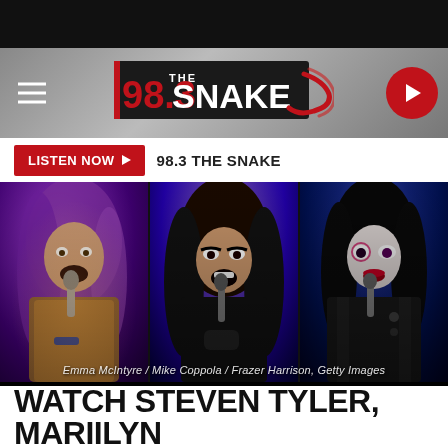[Figure (logo): 98.3 The Snake radio station logo with red and white text on dark background with snake graphic]
LISTEN NOW ▶  98.3 THE SNAKE
[Figure (photo): Three rock musicians performing on stage: Steven Tyler (Aerosmith), Alice Cooper, and Marilyn Manson, each holding a microphone. Photo credits: Emma McIntyre / Mike Coppola / Frazer Harrison, Getty Images]
Emma McIntyre / Mike Coppola / Frazer Harrison, Getty Images
WATCH STEVEN TYLER, MARILYN